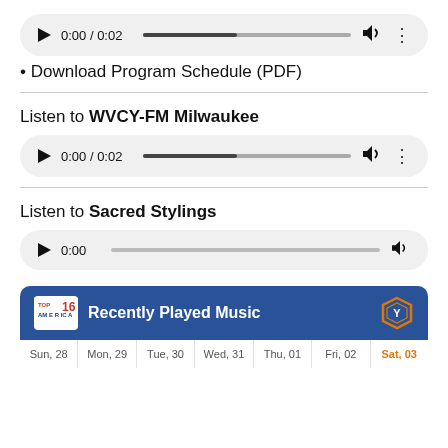[Figure (screenshot): Audio player showing 0:00 / 0:02 with play button, progress bar, volume and more icons]
• Download Program Schedule (PDF)
Listen to WVCY-FM Milwaukee
[Figure (screenshot): Audio player showing 0:00 / 0:02 with play button, progress bar, volume and more icons]
Listen to Sacred Stylings
[Figure (screenshot): Audio player showing 0:00 with play button, progress bar and volume icon]
[Figure (screenshot): Recently Played Music widget with days Sun,28 Mon,29 Tue,30 Wed,31 Thu,01 Fri,02 Sat,03]